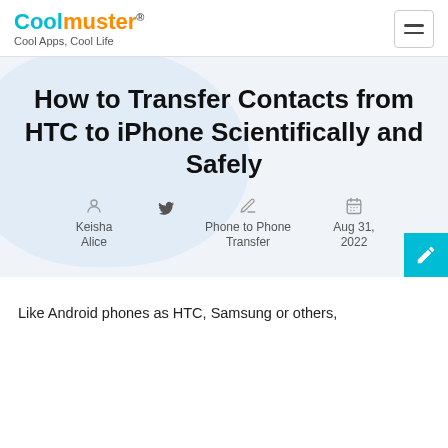Coolmuster® Cool Apps, Cool Life
How to Transfer Contacts from HTC to iPhone Scientifically and Safely
Keisha Alice | Phone to Phone Transfer | Aug 31, 2022
Like Android phones as HTC, Samsung or others,